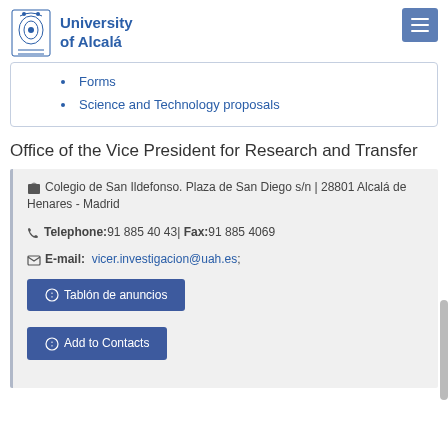University of Alcalá
Forms
Science and Technology proposals
Office of the Vice President for Research and Transfer
🏠 Colegio de San Ildefonso. Plaza de San Diego s/n | 28801 Alcalá de Henares - Madrid
Telephone: 91 885 40 43 | Fax: 91 885 4069
E-mail: vicer.investigacion@uah.es;
Tablón de anuncios
Add to Contacts